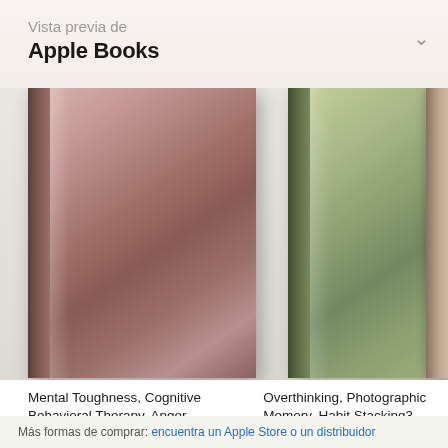Vista previa de
Apple Books
[Figure (illustration): Two book covers displayed side by side. Left book has a dusty rose/mauve gradient cover (Mental Toughness, Cognitive Behavioral Therapy, Anger... 2021). Middle book has a sage green gradient cover (Overthinking, Photographic Memory, Habit Stacking3... 2020). Partial third book cover visible on far right.]
Mental Toughness, Cognitive Behavioral Therapy, Anger...
2021
Overthinking, Photographic Memory, Habit Stacking3...
2020
Más formas de comprar: encuentra un Apple Store o un distribuidor